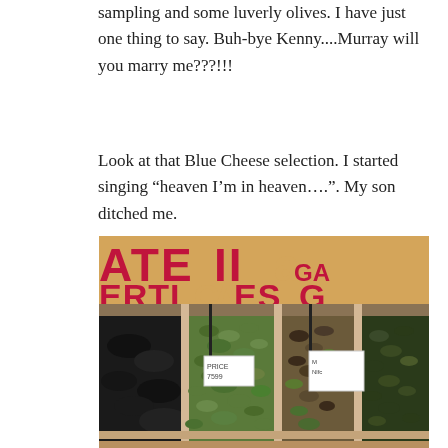sampling and some luverly olives. I have just one thing to say. Buh-bye Kenny....Murray will you marry me???!!!
Look at that Blue Cheese selection. I started singing “heaven I’m in heaven….”. My son ditched me.
[Figure (photo): Photo of wooden crates filled with various olives (green, black, mixed) at a market stall, with price signs and a red-text cardboard backdrop partially visible.]